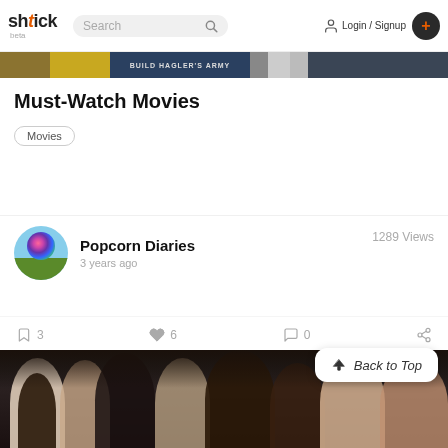shtick beta — Search — Login / Signup — +
[Figure (photo): Horizontal banner strip with movie thumbnails in yellow, dark blue, and grey tones]
Must-Watch Movies
Movies
Popcorn Diaries — 3 years ago — 1289 Views
3  6  0
Back to Top
[Figure (photo): Dark crowd scene with several people close together, movie still]